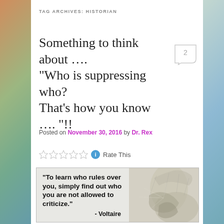TAG ARCHIVES: HISTORIAN
Something to think about …. "Who is suppressing who? That's how you know …. "!!
Posted on November 30, 2016 by Dr. Rex
Rate This
[Figure (illustration): Illustration with quote text: "To learn who rules over you, simply find out who you are not allowed to criticize." - Voltaire, with pencil sketch of hands in background]